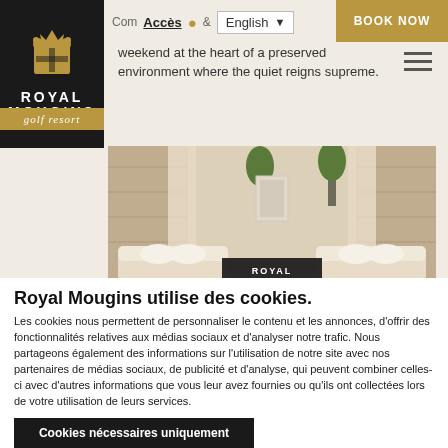[Figure (logo): Royal Mougins Golf Resort logo — black background with coat of arms crest, white text ROYAL MOUGINS, gold bar with 'golf resort' in italic]
Accès  English   BOOK NOW
weekend at the heart of a preserved environment where the quiet reigns supreme.
[Figure (photo): Interior photo of Royal Mougins Golf Resort spa/lounge area with cream-colored daybed loungers and Royal Mougins logo overlay]
Royal Mougins utilise des cookies.
Les cookies nous permettent de personnaliser le contenu et les annonces, d'offrir des fonctionnalités relatives aux médias sociaux et d'analyser notre trafic. Nous partageons également des informations sur l'utilisation de notre site avec nos partenaires de médias sociaux, de publicité et d'analyse, qui peuvent combiner celles-ci avec d'autres informations que vous leur avez fournies ou qu'ils ont collectées lors de votre utilisation de leurs services.
Cookies nécessaires uniquement
Autoriser tous les cookies
Afficher les détails